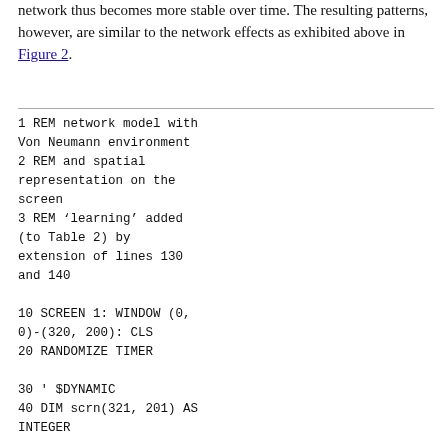network thus becomes more stable over time. The resulting patterns, however, are similar to the network effects as exhibited above in Figure 2.
[Figure (other): Code listing in monospace font with a horizontal rule at top. Contains BASIC program lines: REM comments (lines 1-3), SCREEN/WINDOW/CLS setup (line 10), RANDOMIZE TIMER (line 20), $DYNAMIC declaration (line 30), DIM array (line 40), FOR loop start (line 50), variable assignments (lines 60-70).]